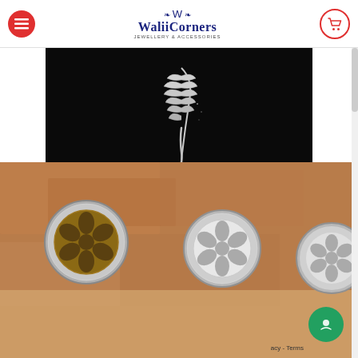WaliiCorners
[Figure (photo): A silver feather-shaped jewelry pendant photographed against a black background]
[Figure (photo): Two silver and gold cufflinks with a floral wheel design photographed on a stone/brick surface]